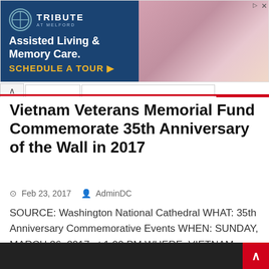[Figure (other): Tribute at Melford advertisement banner: dark blue left section with logo, 'Assisted Living & Memory Care. SCHEDULE A TOUR ▶', and a photo of elderly person on the right.]
Vietnam Veterans Memorial Fund Commemorate 35th Anniversary of the Wall in 2017
Feb 23, 2017   AdminDC
SOURCE: Washington National Cathedral WHAT: 35th Anniversary Commemorative Events WHEN: SUNDAY, MARCH 26, 2017 at 1:00 PM WHERE: VIETNAM VETERANS MEMORIAL VVMF COMMEMORATES 35TH ANNIVERSARY OF THE WALL IN 2017...